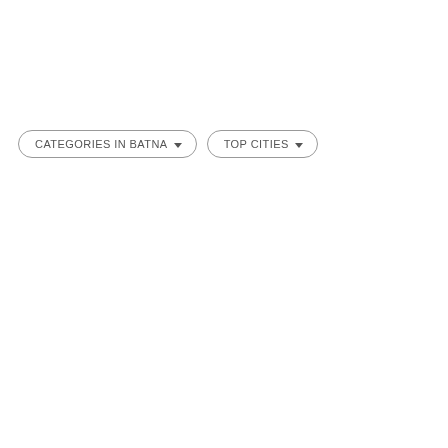[Figure (screenshot): Two pill-shaped dropdown buttons side by side. Left button reads 'CATEGORIES IN BATNA' with a dropdown arrow. Right button reads 'TOP CITIES' with a dropdown arrow. Both have rounded rectangle borders in gray on a white background.]